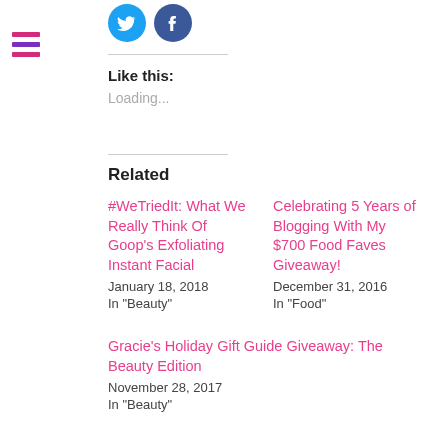[Figure (logo): Twitter bird icon (blue circle) and Facebook f icon (dark blue circle) as social share buttons]
[Figure (other): Hamburger menu icon with three horizontal bars in pink/purple colors on the left sidebar]
Like this:
Loading...
Related
#WeTriedIt: What We Really Think Of Goop's Exfoliating Instant Facial
January 18, 2018
In "Beauty"
Celebrating 5 Years of Blogging With My $700 Food Faves Giveaway!
December 31, 2016
In "Food"
Gracie's Holiday Gift Guide Giveaway: The Beauty Edition
November 28, 2017
In "Beauty"